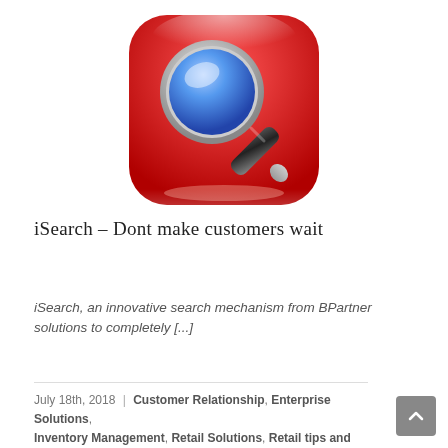[Figure (logo): Red rounded-rectangle app icon with a magnifying glass (blue lens, silver/grey handle) — iSearch app icon]
iSearch – Dont make customers wait
iSearch, an innovative search mechanism from BPartner solutions to completely [...]
July 18th, 2018  |  Customer Relationship, Enterprise Solutions, Inventory Management, Retail Solutions, Retail tips and tricks,